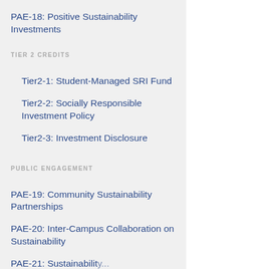PAE-18: Positive Sustainability Investments
TIER 2 CREDITS
Tier2-1: Student-Managed SRI Fund
Tier2-2: Socially Responsible Investment Policy
Tier2-3: Investment Disclosure
PUBLIC ENGAGEMENT
PAE-19: Community Sustainability Partnerships
PAE-20: Inter-Campus Collaboration on Sustainability
PAE-21: Sustainability...